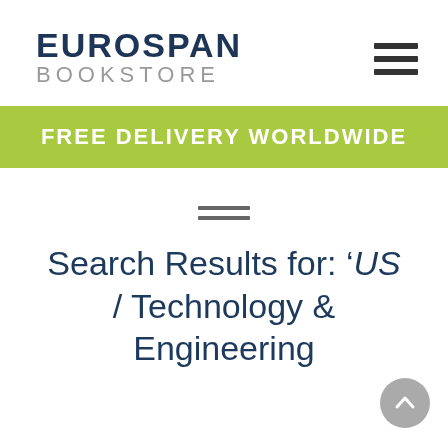[Figure (logo): Eurospan Bookstore logo with dark navy bold text 'EUROSPAN' and grey 'BOOKSTORE' below]
[Figure (other): Hamburger menu icon (three horizontal lines) in top right corner]
FREE DELIVERY WORLDWIDE
[Figure (other): Small hamburger menu icon (two horizontal lines) centered on page]
Search Results for: 'US / Technology & Engineering